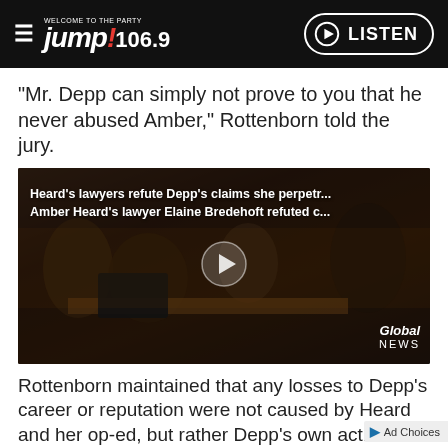WELCOME TO THE PARTY Jump! 106.9 LISTEN
“Mr. Depp can simply not prove to you that he never abused Amber,” Rottenborn told the jury.
[Figure (screenshot): Video thumbnail showing courtroom scene with text overlay: Heard's lawyers refute Depp's claims she perpetr... / Amber Heard's lawyer Elaine Bredehoft refuted c... Global News watermark visible. Play button in center.]
Rottenborn maintained that any losses to Depp’s career or reputation were not caused by Heard and her op-ed, but rather Depp’s own actions